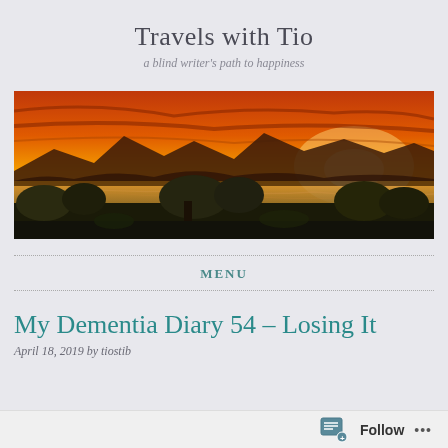Travels with Tio
a blind writer's path to happiness
[Figure (photo): Panoramic sunset landscape with orange sky, mountains in silhouette, river and trees in foreground]
MENU
My Dementia Diary 54 – Losing It
April 18, 2019 by tiostib
Follow ...